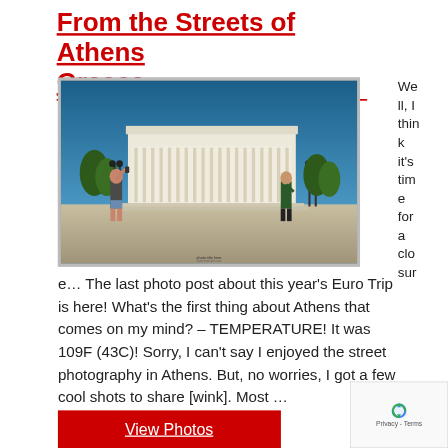From the Streets of Athens Greece
[Figure (photo): Street photo in Athens, Greece, showing a woman taking a selfie and a man walking in front of the Hellenic Parliament building on a sunny day]
Well, I think it's time for a closure… The last photo post about this year's Euro Trip is here! What's the first thing about Athens that comes on my mind? – TEMPERATURE! It was 109F (43C)! Sorry, I can't say I enjoyed the street photography in Athens. But, no worries, I got a few cool shots to share [wink]. Most …
View Photos